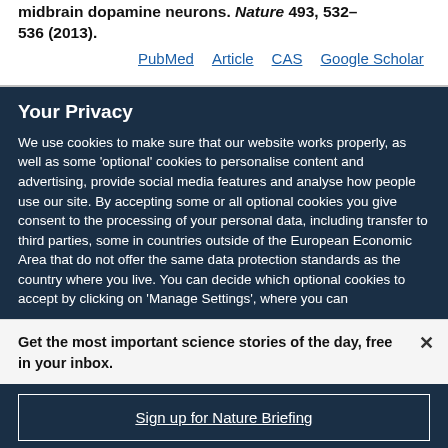midbrain dopamine neurons. Nature 493, 532–536 (2013).
PubMed  Article  CAS  Google Scholar
Your Privacy
We use cookies to make sure that our website works properly, as well as some 'optional' cookies to personalise content and advertising, provide social media features and analyse how people use our site. By accepting some or all optional cookies you give consent to the processing of your personal data, including transfer to third parties, some in countries outside of the European Economic Area that do not offer the same data protection standards as the country where you live. You can decide which optional cookies to accept by clicking on 'Manage Settings', where you can
Get the most important science stories of the day, free in your inbox.
Sign up for Nature Briefing